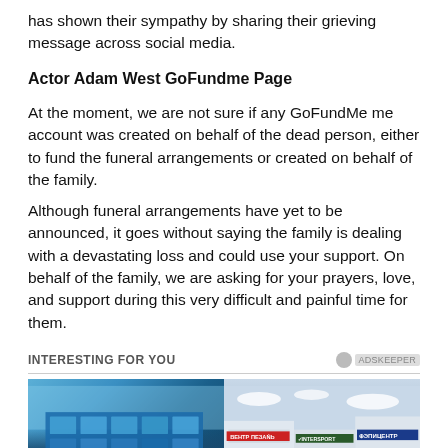has shown their sympathy by sharing their grieving message across social media.
Actor Adam West GoFundme Page
At the moment, we are not sure if any GoFundMe me account was created on behalf of the dead person, either to fund the funeral arrangements or created on behalf of the family.
Although funeral arrangements have yet to be announced, it goes without saying the family is dealing with a devastating loss and could use your support. On behalf of the family, we are asking for your prayers, love, and support during this very difficult and painful time for them.
INTERESTING FOR YOU
[Figure (photo): Two shopping mall exterior photos side by side. Left: A modern building with blue glass facade with text 'New York'. Right: A strip mall with Russian store signs including BEHTР ПЕЗAŃ, VINTERSPORT, and ЭПИЦЕНТР.]